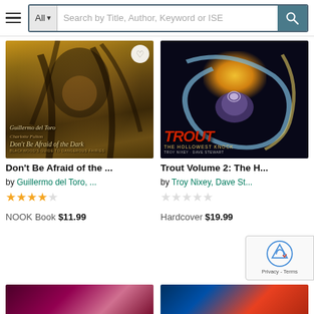All ▾  Search by Title, Author, Keyword or ISE
[Figure (photo): Book cover: Don't Be Afraid of the Dark by Guillermo del Toro - dark fantasy illustration]
[Figure (photo): Book cover: Trout Volume 2: The Hollowest Knock by Troy Nixey, Dave Stewart - colorful comic art with baby and swirl]
Don't Be Afraid of the ...
Trout Volume 2: The H...
by Guillermo del Toro, ...
by Troy Nixey, Dave St...
★★★★☆
☆☆☆☆☆
NOOK Book $11.99
Hardcover $19.99